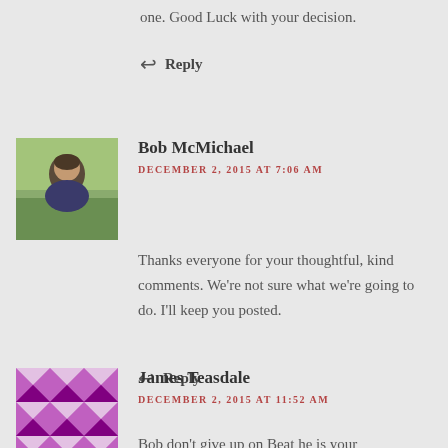one. Good Luck with your decision.
↩ Reply
[Figure (photo): Avatar photo of Bob McMichael, a middle-aged man outdoors]
Bob McMichael
DECEMBER 2, 2015 AT 7:06 AM
Thanks everyone for your thoughtful, kind comments. We're not sure what we're going to do. I'll keep you posted.
↩ Reply
[Figure (illustration): Purple and white quilt/geometric pattern avatar for James Teasdale]
James Teasdale
DECEMBER 2, 2015 AT 11:52 AM
Bob don't give up on Beat he is your